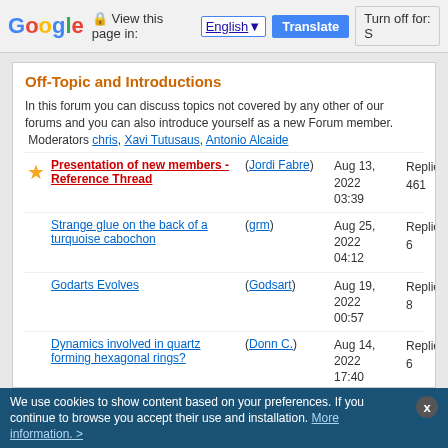Google | View this page in: English | Translate | Turn off for: S
Off-Topic and Introductions
In this forum you can discuss topics not covered by any other of our forums and you can also introduce yourself as a new Forum member.
Moderators chris, Xavi Tutusaus, Antonio Alcaide
Presentation of new members - Reference Thread (Jordi Fabre) Aug 13, 2022 03:39 Replies: 461 Views: 406913
Strange glue on the back of a turquoise cabochon (grm) Aug 25, 2022 04:12 Replies: 6 Views: 345
Godarts Evolves (Godsart) Aug 19, 2022 00:57 Replies: 8 Views: 512
Dynamics involved in quartz forming hexagonal rings? (Donn C.) Aug 14, 2022 17:40 Replies: 6 Views: 401
Dragon Stone / Septarian Concretion (Airborn406) Aug 13, 2022 07:19 Replies: 7 Views: 650 489
New Brief Visual Guide for Quartz (Minerals & Fossils yt) Jul 13, 2022 01:25 Replies: 7 Views: 1121
New Mineral Jul 07
We use cookies to show content based on your preferences. If you continue to browse you accept their use and installation. More information. >